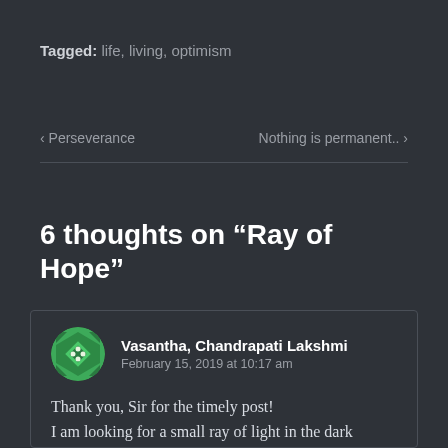Tagged: life, living, optimism
< Perseverance    Nothing is permanent.. >
6 thoughts on “Ray of Hope”
Vasantha, Chandrapati Lakshmi
February 15, 2019 at 10:17 am
Thank you, Sir for the timely post!
I am looking for a small ray of light in the dark